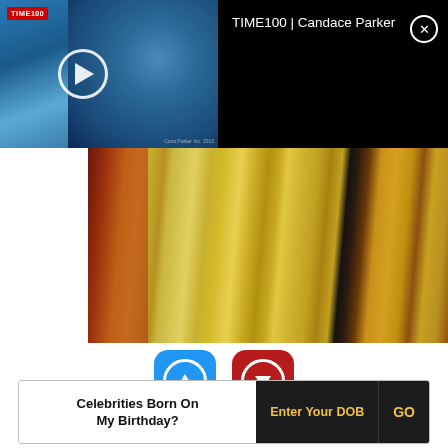[Figure (screenshot): Video thumbnail showing TIME100 with Candace Parker - dark background with play button and close X button, title text 'TIME100 | Candace Parker']
[Figure (photo): Close-up photo of a woman with long blonde hair wearing a colorful patterned top with red background]
[Figure (infographic): Two voting buttons: blue upvote button with up arrow and count 10, red downvote button with down arrow and count 2]
Birthdate: July 10, 1980
Sun Sign: Cancer
Celebrities Born On My Birthday?
Enter Your DOB
GO